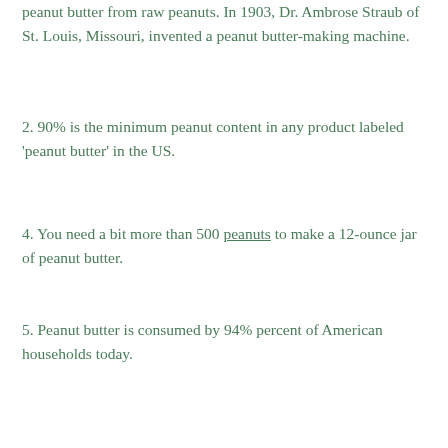peanut butter from raw peanuts. In 1903, Dr. Ambrose Straub of St. Louis, Missouri, invented a peanut butter-making machine.
2. 90% is the minimum peanut content in any product labeled 'peanut butter' in the US.
4. You need a bit more than 500 peanuts to make a 12-ounce jar of peanut butter.
5. Peanut butter is consumed by 94% percent of American households today.
6. This all-time favourite has then been awarded with two days on the American calendar: the National Peanut Butter Day, on January 24th, the National Peanut Butter Lover's Day, on March 1st.
7. Elvis Presley was famously known for adding bananas to his PB sandwiches.
8. By the time the average American hits adulthood, they will...